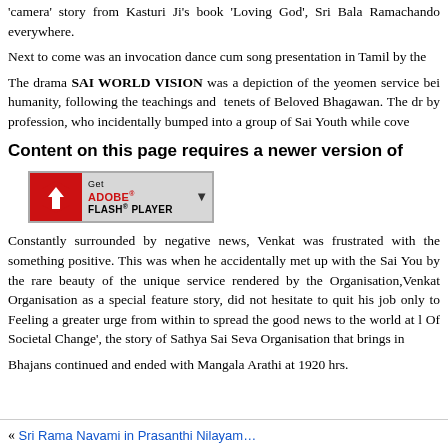'camera' story from Kasturi Ji's book 'Loving God', Sri Bala Ramachandra everywhere.
Next to come was an invocation dance cum song presentation in Tamil by the
The drama SAI WORLD VISION was a depiction of the yeomen service being rendered to humanity, following the teachings and tenets of Beloved Bhagawan. The drama by profession, who incidentally bumped into a group of Sai Youth while covering
Content on this page requires a newer version of
[Figure (screenshot): Adobe Flash Player download button — red Flash icon on left, text 'Get ADOBE FLASH PLAYER' on right, arrow icon]
Constantly surrounded by negative news, Venkat was frustrated with the something positive. This was when he accidentally met up with the Sai Youth by the rare beauty of the unique service rendered by the Organisation, Venkat Organisation as a special feature story, did not hesitate to quit his job only to Feeling a greater urge from within to spread the good news to the world at l Of Societal Change', the story of Sathya Sai Seva Organisation that brings indeed
Bhajans continued and ended with Mangala Arathi at 1920 hrs.
« Sri Rama Navami in Prasanthi Nilayam…